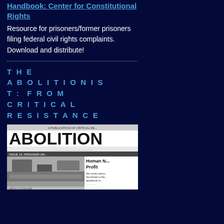Handbook: Center for Constitutional Rights
Resource for prisoners/former prisoners filing federal civil rights complaints. Download and distribute!
THE ABOLITIONIST: FROM CRITICAL RESISTANCE
[Figure (photo): Cover of The Abolitionist magazine, Issue 12: Prisoner Dr... showing headline 'Human N... Profit' with black and white photograph.]